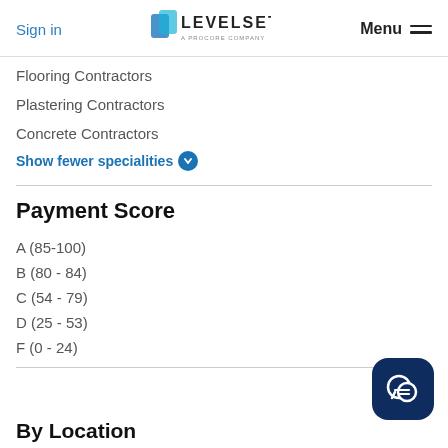Sign in | LEVELSET A PROCORE COMPANY | Menu
Flooring Contractors
Plastering Contractors
Concrete Contractors
Show fewer specialities
Payment Score
A (85-100)
B (80 - 84)
C (54 - 79)
D (25 - 53)
F (0 - 24)
By Location